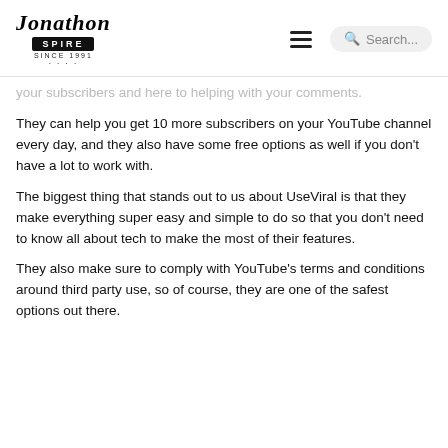Jonathon Spire — Since 1991
your subscribers and here to helping with your comments.
They can help you get 10 more subscribers on your YouTube channel every day, and they also have some free options as well if you don't have a lot to work with.
The biggest thing that stands out to us about UseViral is that they make everything super easy and simple to do so that you don't need to know all about tech to make the most of their features.
They also make sure to comply with YouTube's terms and conditions around third party use, so of course, they are one of the safest options out there.